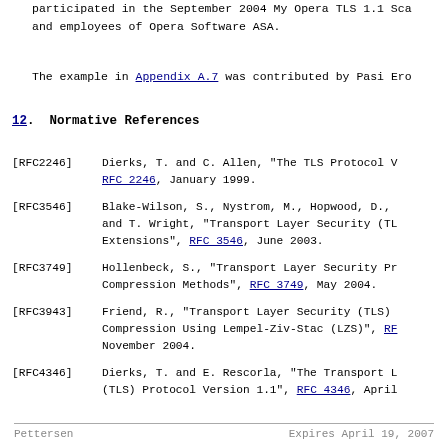participated in the September 2004 My Opera TLS 1.1 Sca... and employees of Opera Software ASA.
The example in Appendix A.7 was contributed by Pasi Ero...
12. Normative References
[RFC2246]   Dierks, T. and C. Allen, "The TLS Protocol V... RFC 2246, January 1999.
[RFC3546]   Blake-Wilson, S., Nystrom, M., Hopwood, D., and T. Wright, "Transport Layer Security (TL... Extensions", RFC 3546, June 2003.
[RFC3749]   Hollenbeck, S., "Transport Layer Security Pr... Compression Methods", RFC 3749, May 2004.
[RFC3943]   Friend, R., "Transport Layer Security (TLS) Compression Using Lempel-Ziv-Stac (LZS)", RF... November 2004.
[RFC4346]   Dierks, T. and E. Rescorla, "The Transport L... (TLS) Protocol Version 1.1", RFC 4346, April
Pettersen                       Expires April 19, 2007